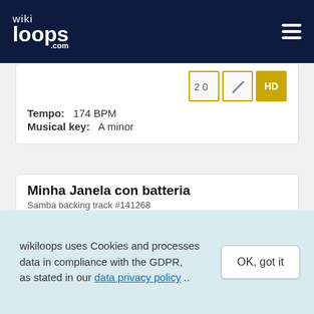wikiloops.com
Tempo: 174 BPM
Musical key: A minor
Minha Janela con batteria
Samba backing track #141268
Tempo: 174 BPM
Musical key: A minor
Sounds like: Something between Pop + Samba
wikiloops uses Cookies and processes data in compliance with the GDPR, as stated in our data privacy policy ..